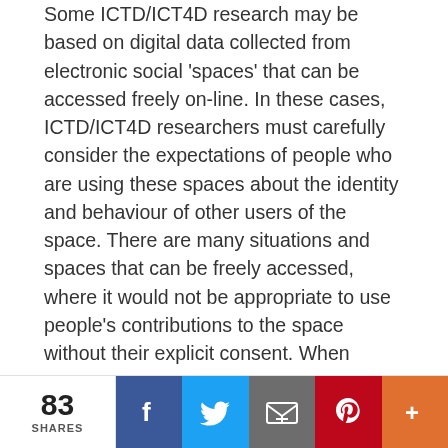Some ICTD/ICT4D research may be based on digital data collected from electronic social 'spaces' that can be accessed freely on-line. In these cases, ICTD/ICT4D researchers must carefully consider the expectations of people who are using these spaces about the identity and behaviour of other users of the space. There are many situations and spaces that can be freely accessed, where it would not be appropriate to use people's contributions to the space without their explicit consent. When
participating in such on-line spaces for research purposes, ICTD/ICT4D researchers should ensure that their on-line profile in the space clearly identifies and explains their research activity, and that people they interact with in the space are aware of their role as researchers.
83 SHARES | Facebook | Twitter | Email | Pinterest | More